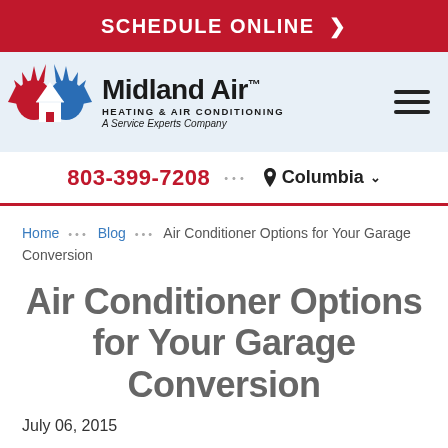SCHEDULE ONLINE >
[Figure (logo): Midland Air Heating & Air Conditioning - A Service Experts Company logo with red and blue flame/snowflake and house icon]
803-399-7208 ••• 📍 Columbia ∨
Home ••• Blog ••• Air Conditioner Options for Your Garage Conversion
Air Conditioner Options for Your Garage Conversion
July 06, 2015